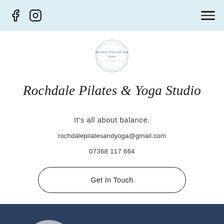Social media icons (Facebook, Instagram) and hamburger menu
[Figure (logo): Rochdale Pilates & Yoga Studio circular logo in light blue/grey tones]
Rochdale Pilates & Yoga Studio
It's all about balance.
rochdalepilatesandyoga@gmail.com
07368 117 664
Get In Touch
[Figure (screenshot): Dark navy blue Facebook feed panel with a grey avatar circle showing letter F and a Follow button]